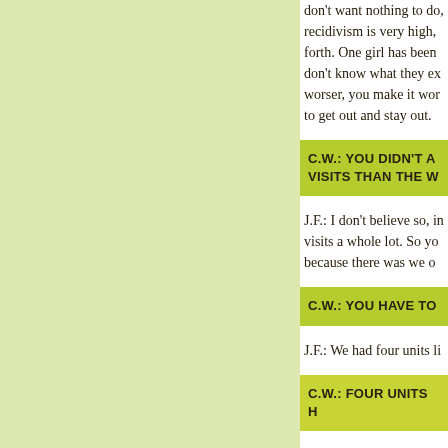don't want nothing to do, recidivism is very high, forth. One girl has been don't know what they ex worser, you make it wor to get out and stay out.
C.W.: YOU DIDN'T A VISITS THAN THE W
J.F.: I don't believe so, in visits a whole lot. So yo because there was we o
C.W.: YOU HAVE TO
J.F.: We had four units li
C.W.: FOUR UNITS H